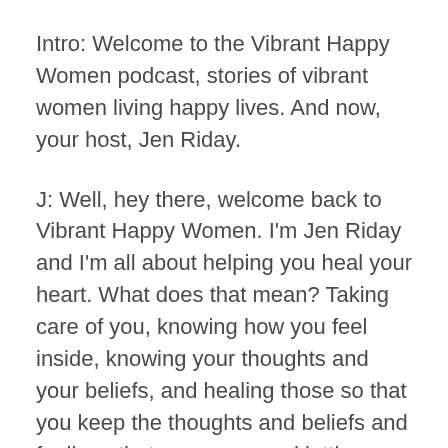Intro: Welcome to the Vibrant Happy Women podcast, stories of vibrant women living happy lives. And now, your host, Jen Riday.
J: Well, hey there, welcome back to Vibrant Happy Women. I'm Jen Riday and I'm all about helping you heal your heart. What does that mean? Taking care of you, knowing how you feel inside, knowing your thoughts and your beliefs, and healing those so that you keep the thoughts and beliefs and feelings that serve you and letting go of the rest. Why? This helps you to be a